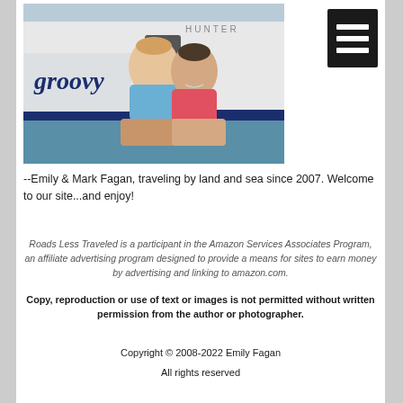[Figure (photo): A couple (Emily and Mark Fagan) smiling and posing in front of a white boat with the word 'groovy' written in blue script on the hull. The woman wears a red/pink shirt and the man wears a blue shirt.]
--Emily & Mark Fagan, traveling by land and sea since 2007. Welcome to our site...and enjoy!
Roads Less Traveled is a participant in the Amazon Services Associates Program, an affiliate advertising program designed to provide a means for sites to earn money by advertising and linking to amazon.com.
Copy, reproduction or use of text or images is not permitted without written permission from the author or photographer.
Copyright © 2008-2022 Emily Fagan
All rights reserved